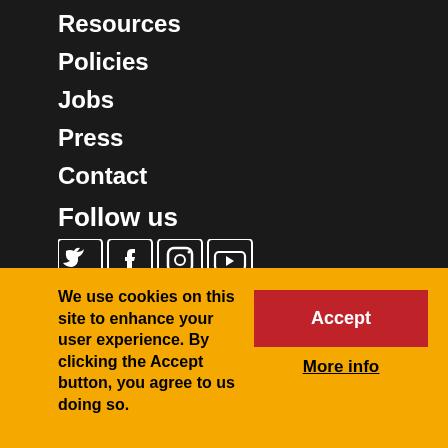Resources
Policies
Jobs
Press
Contact
Follow us
[Figure (illustration): Social media icons: Twitter, Facebook, Instagram, YouTube]
We use cookies on this site to enhance your user experience. By clicking the Accept button, you agree to us doing so.
Accept
More info